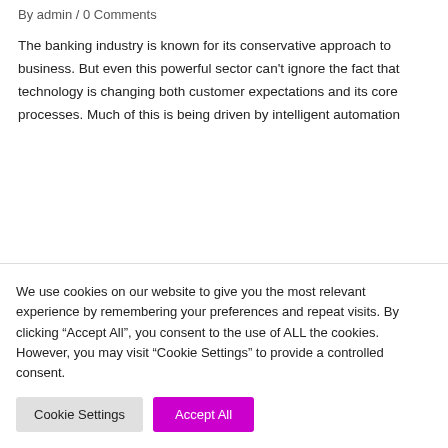By admin / 0 Comments
The banking industry is known for its conservative approach to business. But even this powerful sector can't ignore the fact that technology is changing both customer expectations and its core processes. Much of this is being driven by intelligent automation
We use cookies on our website to give you the most relevant experience by remembering your preferences and repeat visits. By clicking “Accept All”, you consent to the use of ALL the cookies. However, you may visit “Cookie Settings” to provide a controlled consent.